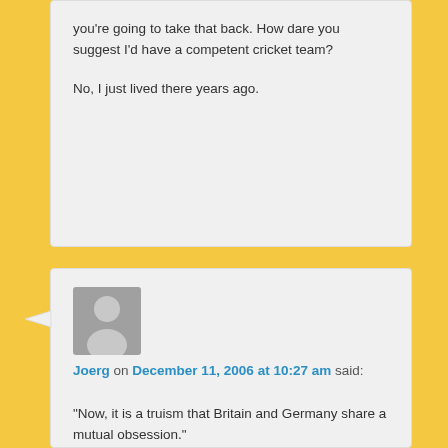you're going to take that back. How dare you suggest I'd have a competent cricket team?

No, I just lived there years ago.
[Figure (illustration): Grey default user avatar with person silhouette]
Joerg on December 11, 2006 at 10:27 am said:
“Now, it is a truism that Britain and Germany share a mutual obsession.”

I’d say that obsession is primarily “just” football.

And I put “just” in quotation marks, since it is a big deal indeed.
+ The role of football as a form of patriotism for Germany, England, Scotland, Wales, Northern